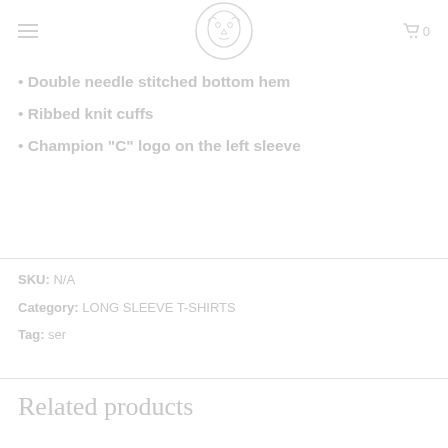[logo] [hamburger menu] [cart 0]
• Double needle stitched bottom hem
• Ribbed knit cuffs
• Champion "C" logo on the left sleeve
SKU: N/A
Category: LONG SLEEVE T-SHIRTS
Tag: ser
Related products